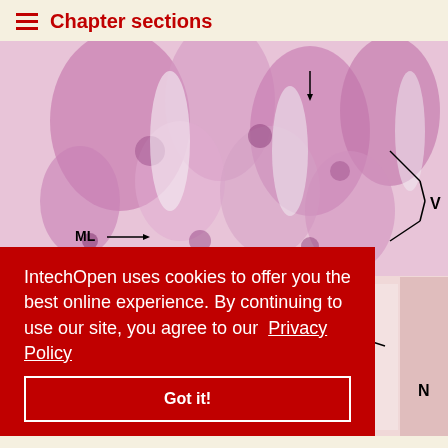Chapter sections
[Figure (photo): Histological microscopy images of intestinal tissue. Top panel (A): high-magnification H&E stained section showing villi (V) and muscularis layer (ML) labeled with arrows. Bottom panel (B): lower-magnification section showing HGC (goblet cells), HEC, DEL (epithelial layer), and N labels with arrows.]
IntechOpen uses cookies to offer you the best online experience. By continuing to use our site, you agree to our Privacy Policy
Got it!